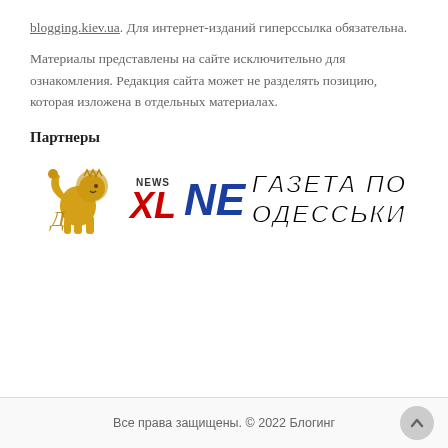blogging.kiev.ua. Для интернет-изданий гиперссылка обязательна.
Материалы представлены на сайте исключительно для ознакомления. Редакция сайта может не разделять позицию, которая изложена в отдельных материалах.
Партнеры
[Figure (logo): Partner logos: golden lion heraldic figure, XL News logo in red, NE logo in blue, and 'ГАЗЕТА ПО ОДЕССЬКИ' text in bold black italic with white outline]
Все права защищены. © 2022 Блогинг